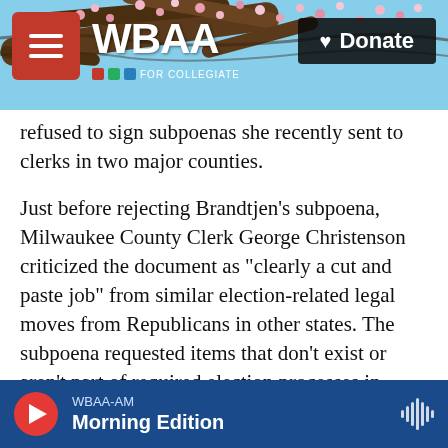[Figure (photo): WBAA NPR radio website header with tree branch background photo, hamburger menu button (red), WBAA logo, and Donate button]
refused to sign subpoenas she recently sent to clerks in two major counties.
Just before rejecting Brandtjen's subpoena, Milwaukee County Clerk George Christenson criticized the document as "clearly a cut and paste job" from similar election-related legal moves from Republicans in other states. The subpoena requested items that don't exist or aren't part of required election processes in Wisconsin.
"It's clear to me that the Republicans are not interested in improving our election processes but rather desperate to find some type of smoking gun
WBAA-AM  Morning Edition